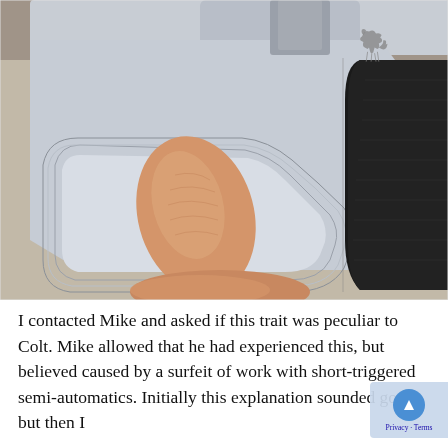[Figure (photo): Close-up photograph of a stainless steel revolver trigger guard with a finger (thumb) pressing on the trigger. A Colt pony logo is visible engraved on the frame. Black rubber grip visible on right side.]
I contacted Mike and asked if this trait was peculiar to Colt. Mike allowed that he had experienced this, but believed caused by a surfeit of work with short-triggered semi-automatics. Initially this explanation sounded good, but then I